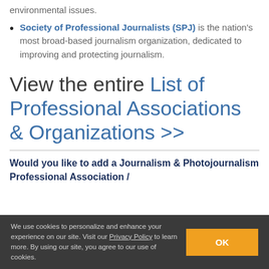environmental issues.
Society of Professional Journalists (SPJ) is the nation's most broad-based journalism organization, dedicated to improving and protecting journalism.
View the entire List of Professional Associations & Organizations >>
Would you like to add a Journalism & Photojournalism Professional Association / Organization to this list?
We use cookies to personalize and enhance your experience on our site. Visit our Privacy Policy to learn more. By using our site, you agree to our use of cookies.